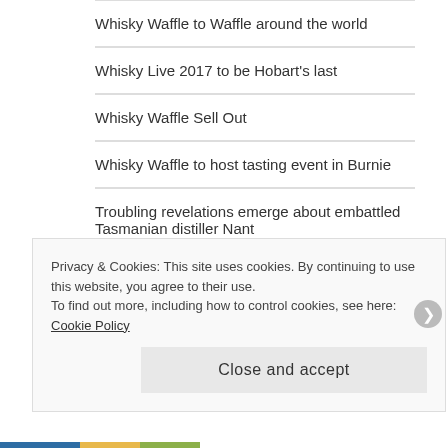Whisky Waffle to Waffle around the world
Whisky Live 2017 to be Hobart's last
Whisky Waffle Sell Out
Whisky Waffle to host tasting event in Burnie
Troubling revelations emerge about embattled Tasmanian distiller Nant
Southern Wild: open for business
Jim McEwan joins Ardnahoe Distillery
Delving into Dark Valley: the launch of Tassie's latest dram
Whisky Waffle launch Islay Week
Privacy & Cookies: This site uses cookies. By continuing to use this website, you agree to their use.
To find out more, including how to control cookies, see here: Cookie Policy
Close and accept